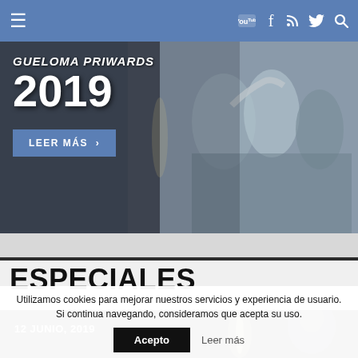Navigation bar with menu icon and social icons (YouTube, Facebook, RSS, Twitter, Search)
[Figure (photo): Hero banner with people sitting, text overlay showing partial title and year 2019, with LEER MÁS button]
2019
LEER MÁS >
ESPECIALES
[Figure (photo): Dark banner showing date 12 JUNIO, 2019 with a portrait photo partially visible]
12 JUNIO, 2019
Utilizamos cookies para mejorar nuestros servicios y experiencia de usuario. Si continua navegando, consideramos que acepta su uso.
Acepto   Leer más